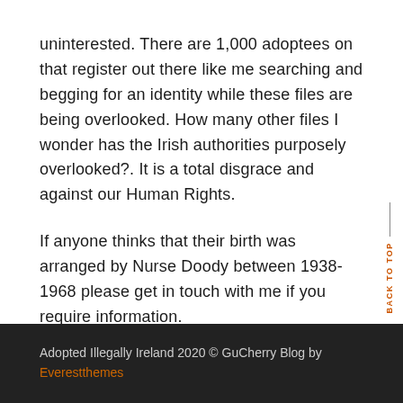uninterested. There are 1,000 adoptees on that register out there like me searching and begging for an identity while these files are being overlooked. How many other files I wonder has the Irish authorities purposely overlooked?. It is a total disgrace and against our Human Rights.

If anyone thinks that their birth was arranged by Nurse Doody between 1938-1968 please get in touch with me if you require information.
Adopted Illegally Ireland 2020 © GuCherry Blog by Everestthemes